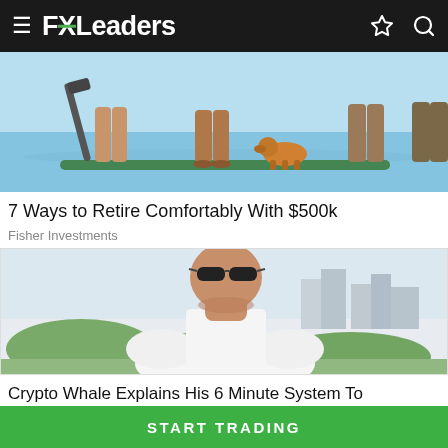FXLeaders
[Figure (photo): Partial view of a beach/water scene with people standing on paddleboards, visible from waist down, with water and a dog in the background — advertisement image for Fisher Investments]
7 Ways to Retire Comfortably With $500k
Fisher Investments
[Figure (photo): A large bald man with sunglasses wearing a white shirt with arms crossed, standing outdoors with city buildings and trees in background — advertisement for crypto trading]
Crypto Whale Explains His 6 Minute System To Explosive Growth
START TRADING